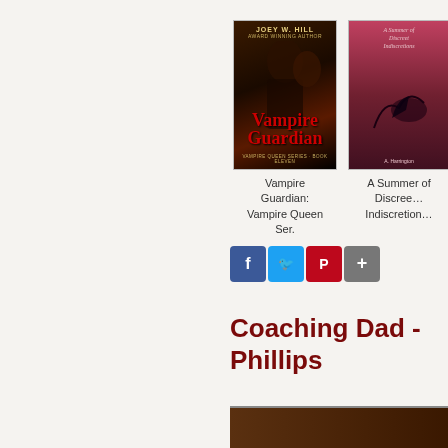[Figure (photo): Book cover: Vampire Guardian: Vampire Queen Series by Joey W. Hill]
[Figure (photo): Book cover: A Summer of Discreet Indiscretions (partially visible)]
Vampire Guardian: Vampire Queen Ser.
A Summer of Discreet Indiscretions
[Figure (screenshot): Social sharing buttons: Facebook, Twitter, Pinterest, Share]
Coaching Dad - Phillips
[Figure (photo): Partial book cover at bottom of page]